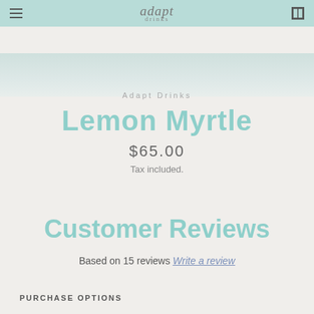adapt drinks
[Figure (screenshot): Hero banner image with light teal/mint gradient background]
Adapt Drinks
Lemon Myrtle
$65.00
Tax included.
Customer Reviews
Based on 15 reviews Write a review
PURCHASE OPTIONS